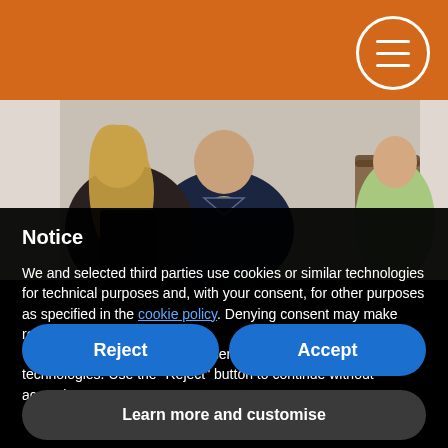[Figure (photo): Three women standing together indoors; the woman in the center wears a dark navy blue v-neck top with a decorative necklace; woman on left has long blonde hair; woman on right is partially visible wearing a floral outfit; a wicker basket is visible in the background.]
Notice
We and selected third parties use cookies or similar technologies for technical purposes and, with your consent, for other purposes as specified in the cookie policy. Denying consent may make related features unavailable.
Use the "Accept" button to consent to the use of such technologies. Use the "Reject" button to continue without accepting.
Reject
Accept
Learn more and customise